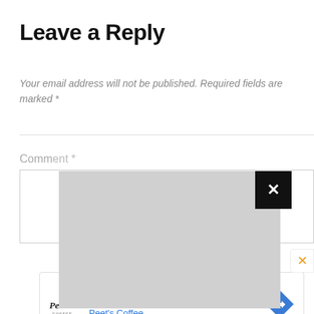Leave a Reply
Your email address will not be published. Required fields are marked *
Comment *
[Figure (screenshot): Comment text area with gray overlay popup containing a black close button with white X, and an orange X close button on the right edge]
[Figure (infographic): Peet's Coffee advertisement banner: Peet's Slow Summer Sweetness, Peet's Coffee, with logo and blue direction icon]